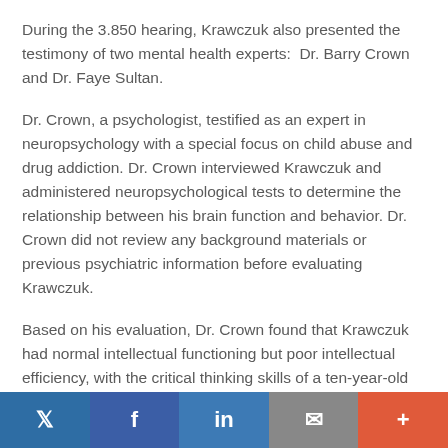During the 3.850 hearing, Krawczuk also presented the testimony of two mental health experts:  Dr. Barry Crown and Dr. Faye Sultan.
Dr. Crown, a psychologist, testified as an expert in neuropsychology with a special focus on child abuse and drug addiction. Dr. Crown interviewed Krawczuk and administered neuropsychological tests to determine the relationship between his brain function and behavior. Dr. Crown did not review any background materials or previous psychiatric information before evaluating Krawczuk.
Based on his evaluation, Dr. Crown found that Krawczuk had normal intellectual functioning but poor intellectual efficiency, with the critical thinking skills of a ten-year-old and the mental processing skills of a thirteen-year-old. Dr. Crown also found that Krawczuk showed signs of organic
Twitter | Facebook | LinkedIn | Email | +